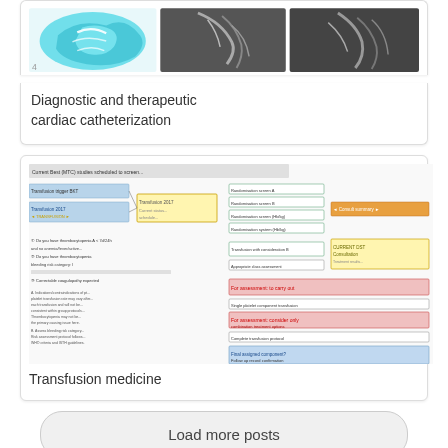[Figure (photo): Top portion of a card showing a cyan brain scan image and two greyscale cardiac catheterization images]
Diagnostic and therapeutic cardiac catheterization
[Figure (flowchart): A detailed flowchart/decision tree for transfusion medicine with color-coded boxes (yellow, blue, red, green) showing clinical pathways and guidelines]
Transfusion medicine
Load more posts
Share this: